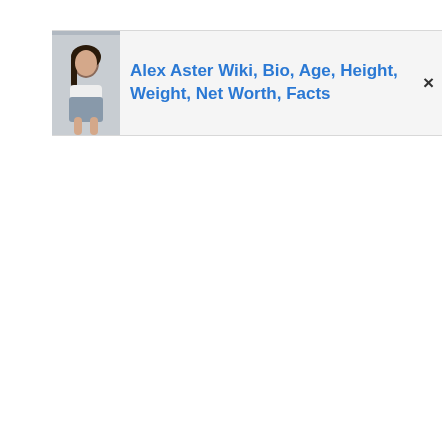[Figure (screenshot): A web browser notification or popup banner showing a thumbnail photo of a young woman on the left, a blue link title 'Alex Aster Wiki, Bio, Age, Height, Weight, Net Worth, Facts' on the right, and a close (×) button at the far right.]